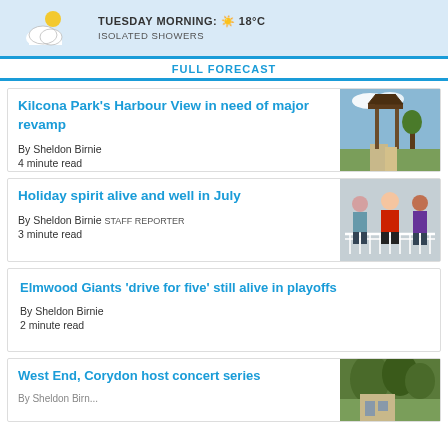TUESDAY MORNING: 18°C ISOLATED SHOWERS
FULL FORECAST
Kilcona Park's Harbour View in need of major revamp
By Sheldon Birnie
4 minute read
[Figure (photo): Wooden lookout tower structure in park setting]
Holiday spirit alive and well in July
By Sheldon Birnie STAFF REPORTER
3 minute read
[Figure (photo): Two people posing with Santa Claus on a porch]
Elmwood Giants 'drive for five' still alive in playoffs
By Sheldon Birnie
2 minute read
West End, Corydon host concert series
[Figure (photo): Outdoor scene with trees and building]